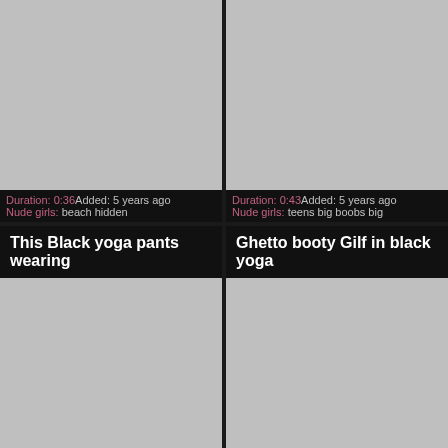[Figure (screenshot): Gray thumbnail placeholder for video 1]
Duration: 0:36Added: 5 years ago
Nude girls: beach hidden
[Figure (screenshot): Gray thumbnail placeholder for video 2]
Duration: 0:43Added: 5 years ago
Nude girls: teens big boobs big
This Black yoga pants wearing
Ghetto booty Gilf in black yoga
[Figure (screenshot): Gray thumbnail placeholder for video 3]
[Figure (screenshot): Gray thumbnail placeholder for video 4]